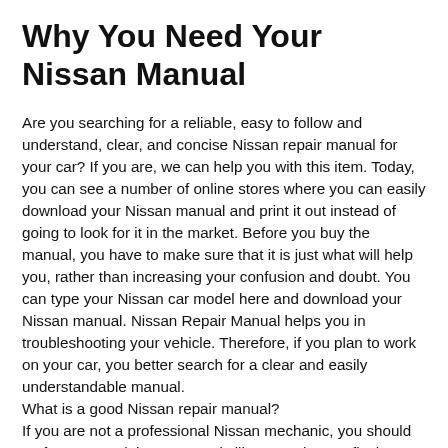Why You Need Your Nissan Manual
Are you searching for a reliable, easy to follow and understand, clear, and concise Nissan repair manual for your car? If you are, we can help you with this item. Today, you can see a number of online stores where you can easily download your Nissan manual and print it out instead of going to look for it in the market. Before you buy the manual, you have to make sure that it is just what will help you, rather than increasing your confusion and doubt. You can type your Nissan car model here and download your Nissan manual. Nissan Repair Manual helps you in troubleshooting your vehicle. Therefore, if you plan to work on your car, you better search for a clear and easily understandable manual.
What is a good Nissan repair manual?
If you are not a professional Nissan mechanic, you should go for a manual that accurately illustrates how to fix the parts with graphics and diagrams. The guidelines should be very clear and straight. A good Nissan repair manual will not only help you learn how to fix your car issue, but it will also guide you to know the